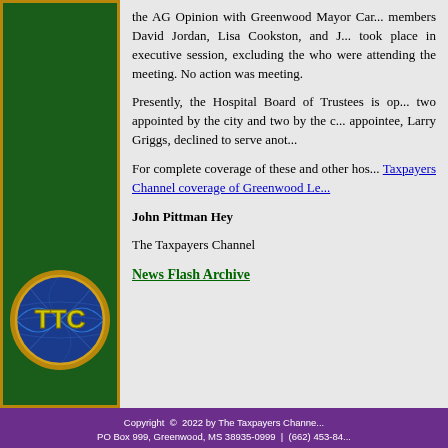the AG Opinion with Greenwood Mayor Car... members David Jordan, Lisa Cookston, and J... took place in executive session, excluding the who were attending the meeting. No action was meeting.
Presently, the Hospital Board of Trustees is op... two appointed by the city and two by the c... appointee, Larry Griggs, declined to serve anot...
For complete coverage of these and other hos... Taxpayers Channel coverage of Greenwood Le...
John Pittman Hey
The Taxpayers Channel
News Flash Archive
[Figure (logo): TTC (The Taxpayers Channel) logo — blue globe with gold TTC letters]
Copyright © 2022 by The Taxpayers Channe...
PO Box 999, Greenwood, MS 38935-0999 | (662) 453-84...